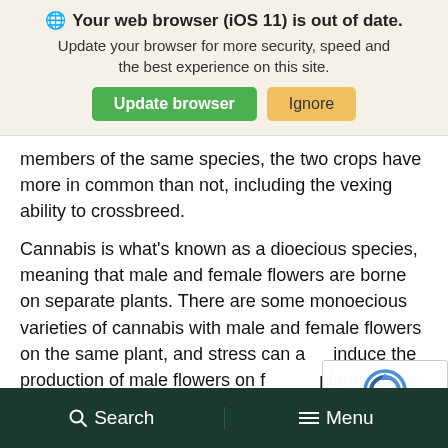[Figure (screenshot): Browser update notification banner with globe icon, bold title 'Your web browser (iOS 11) is out of date.', subtitle text, and two buttons: 'Update browser' (green) and 'Ignore' (yellow/tan)]
members of the same species, the two crops have more in common than not, including the vexing ability to crossbreed.
Cannabis is what's known as a dioecious species, meaning that male and female flowers are borne on separate plants. There are some monoecious varieties of cannabis with male and female flowers on the same plant, and stress can also induce the production of male flowers on female plants, but these are exceptions to the plant's
[Figure (screenshot): reCAPTCHA widget overlay showing the reCAPTCHA logo and Privacy - Terms links]
Search   Menu